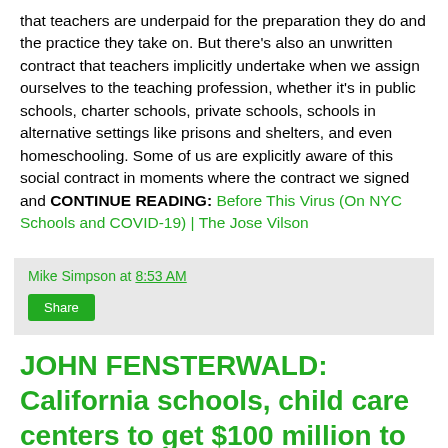that teachers are underpaid for the preparation they do and the practice they take on. But there's also an unwritten contract that teachers implicitly undertake when we assign ourselves to the teaching profession, whether it's in public schools, charter schools, private schools, schools in alternative settings like prisons and shelters, and even homeschooling. Some of us are explicitly aware of this social contract in moments where the contract we signed and CONTINUE READING: Before This Virus (On NYC Schools and COVID-19) | The Jose Vilson
Mike Simpson at 8:53 AM
Share
JOHN FENSTERWALD: California schools, child care centers to get $100 million to disinfect for coronavirus | EdSource